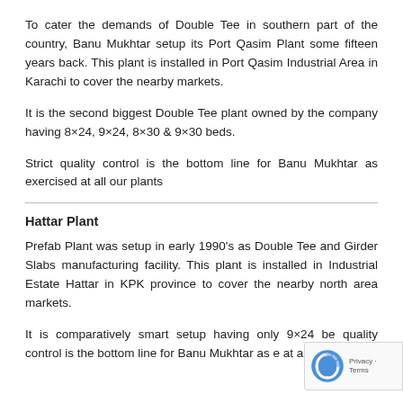To cater the demands of Double Tee in southern part of the country, Banu Mukhtar setup its Port Qasim Plant some fifteen years back. This plant is installed in Port Qasim Industrial Area in Karachi to cover the nearby markets.
It is the second biggest Double Tee plant owned by the company having 8×24, 9×24, 8×30 & 9×30 beds.
Strict quality control is the bottom line for Banu Mukhtar as exercised at all our plants
Hattar Plant
Prefab Plant was setup in early 1990's as Double Tee and Girder Slabs manufacturing facility. This plant is installed in Industrial Estate Hattar in KPK province to cover the nearby north area markets.
It is comparatively smart setup having only 9×24 be quality control is the bottom line for Banu Mukhtar as e at all our plants.